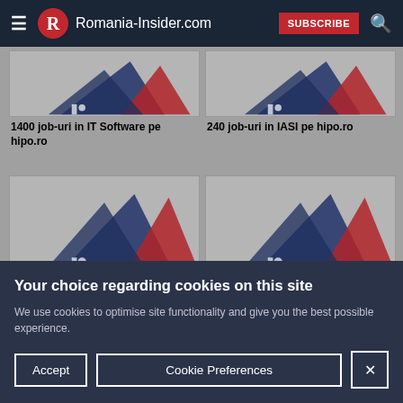Romania-Insider.com — SUBSCRIBE
[Figure (screenshot): Hipo.ro job listing card image — 1400 job-uri in IT Software pe hipo.ro]
1400 job-uri in IT Software pe hipo.ro
[Figure (screenshot): Hipo.ro job listing card image — 240 job-uri in IASI pe hipo.ro]
240 job-uri in IASI pe hipo.ro
[Figure (screenshot): Hipo.ro job listing card image — lower left]
[Figure (screenshot): Hipo.ro job listing card image — lower right]
Your choice regarding cookies on this site
We use cookies to optimise site functionality and give you the best possible experience.
Accept   Cookie Preferences   X